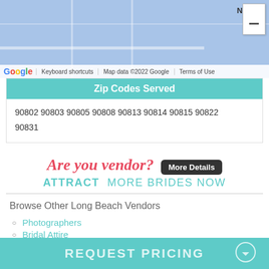[Figure (screenshot): Google Maps screenshot showing a map area with a blue/light color palette, a white minimize/controls box in top right with a minus button, and Google branding with map attribution bar at bottom]
Zip Codes Served
90802 90803 90805 90808 90813 90814 90815 90822 90831
[Figure (infographic): Promotional banner: 'Are you vendor? More Details' with subtext 'ATTRACT MORE BRIDES NOW']
Browse Other Long Beach Vendors
Photographers
Bridal Attire
Cake Bakeries
Planners & Coordinators
Caterers
REQUEST PRICING